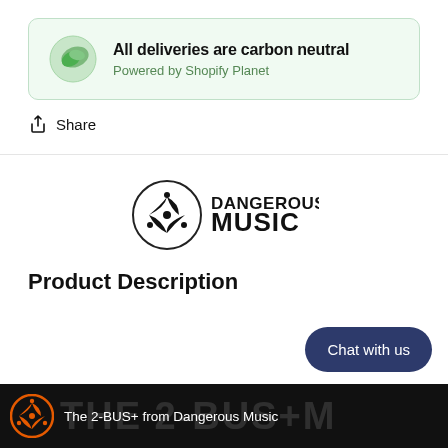[Figure (infographic): Carbon neutral delivery badge: green leaf icon with text 'All deliveries are carbon neutral' and 'Powered by Shopify Planet']
All deliveries are carbon neutral
Powered by Shopify Planet
Share
[Figure (logo): Dangerous Music logo — circular spinner icon and bold text DANGEROUS MUSIC]
Product Description
[Figure (screenshot): Video bar showing Dangerous Music orange logo and text: The 2-BUS+ from Dangerous Music, with large background text THE 2-BUS+M]
Chat with us